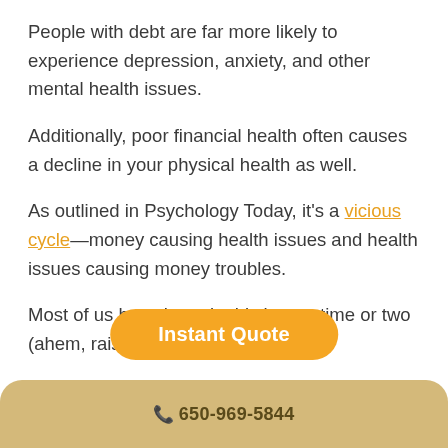People with debt are far more likely to experience depression, anxiety, and other mental health issues.
Additionally, poor financial health often causes a decline in your physical health as well.
As outlined in Psychology Today, it's a vicious cycle—money causing health issues and health issues causing money troubles.
Most of us have been in this boat a time or two (ahem, raising…
[Figure (other): Orange rounded rectangle button with white bold text 'Instant Quote']
📞 650-969-5844